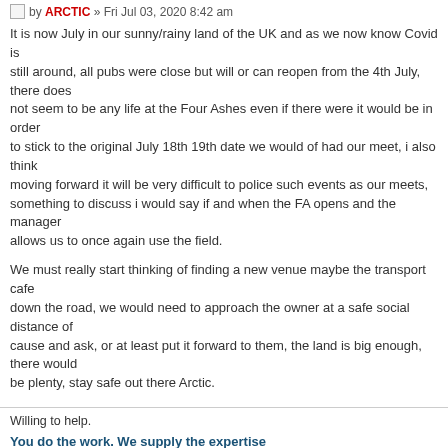by ARCTIC » Fri Jul 03, 2020 8:42 am
It is now July in our sunny/rainy land of the UK and as we now know Covid is still around, all pubs were close but will or can reopen from the 4th July, there does not seem to be any life at the Four Ashes even if there were it would be in order to stick to the original July 18th 19th date we would of had our meet, i also think moving forward it will be very difficult to police such events as our meets, that is something to discuss i would say if and when the FA opens and the manager allows us to once again use the field.
We must really start thinking of finding a new venue maybe the transport cafe down the road, we would need to approach the owner at a safe social distance of cause and ask, or at least put it forward to them, the land is big enough, there would be plenty, stay safe out there Arctic.
Willing to help.
You do the work. We supply the expertise
Nano Ethos
viewtopic.php?f=18&t=13
Re: Should the March meet go ahead ?
by Duncan » Fri Jul 03, 2020 6:08 pm
I think you are right Steve.